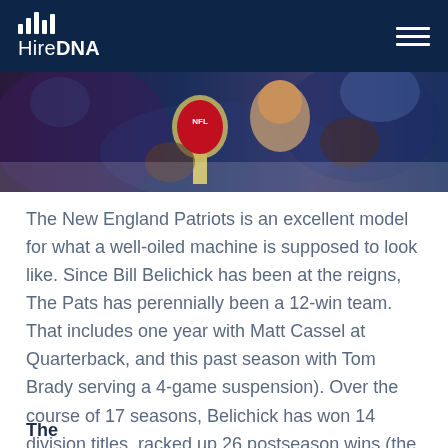HireDNA
[Figure (photo): NFL trophy being held up by a person, crowd in background, blue-toned lighting]
The New England Patriots is an excellent model for what a well-oiled machine is supposed to look like. Since Bill Belichick has been at the reigns, The Pats has perennially been a 12-win team. That includes one year with Matt Cassel at Quarterback, and this past season with Tom Brady serving a 4-game suspension). Over the course of 17 seasons, Belichick has won 14 division titles, racked up 26 postseason wins (the most postseason wins by an NFL head coach), 7 AFC championship games, and 5 Super Bowls.
The...